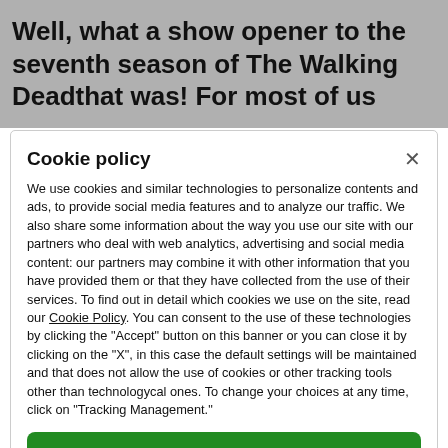Well, what a show opener to the seventh season of The Walking Deadthat was! For most of us
Cookie policy
We use cookies and similar technologies to personalize contents and ads, to provide social media features and to analyze our traffic. We also share some information about the way you use our site with our partners who deal with web analytics, advertising and social media content: our partners may combine it with other information that you have provided them or that they have collected from the use of their services. To find out in detail which cookies we use on the site, read our Cookie Policy. You can consent to the use of these technologies by clicking the "Accept" button on this banner or you can close it by clicking on the "X", in this case the default settings will be maintained and that does not allow the use of cookies or other tracking tools other than technologycal ones. To change your choices at any time, click on "Tracking Management."
ACCEPT
TRACKERS MANAGEMENT
Show vendors | Show purposes